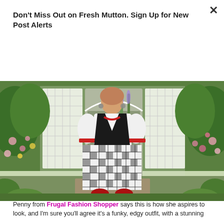Don't Miss Out on Fresh Mutton. Sign Up for New Post Alerts
Subscribe
[Figure (photo): Woman standing in a lush garden in front of a white lattice gazebo/arbor, wearing a white blouse, black knit vest, black and white gingham check wide-leg trousers, and red shoes, with a red necklace and statement earrings. Surrounded by pink and yellow flowers.]
Penny from Frugal Fashion Shopper says this is how she aspires to look, and I'm sure you'll agree it's a funky, edgy outfit, with a stunning